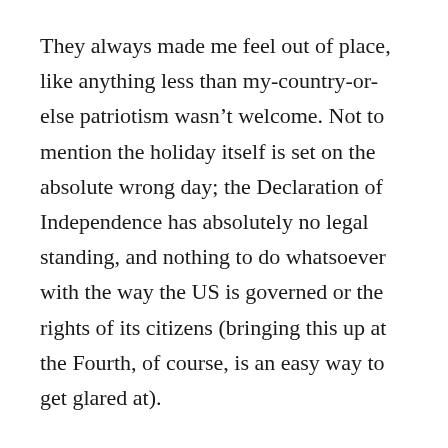They always made me feel out of place, like anything less than my-country-or-else patriotism wasn’t welcome. Not to mention the holiday itself is set on the absolute wrong day; the Declaration of Independence has absolutely no legal standing, and nothing to do whatsoever with the way the US is governed or the rights of its citizens (bringing this up at the Fourth, of course, is an easy way to get glared at).
So I was unsure what to expect for Canada Day. I’m also by myself, so no family or friends to go hang with. Thankfully, the City of Victoria threw a celebration downtown, right on the harbor, which turned out to be just about perfect.
Here’s three things I liked about this year’s celebration: